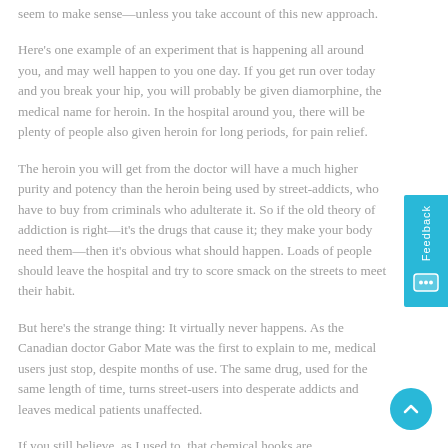seem to make sense—unless you take account of this new approach.
Here's one example of an experiment that is happening all around you, and may well happen to you one day. If you get run over today and you break your hip, you will probably be given diamorphine, the medical name for heroin. In the hospital around you, there will be plenty of people also given heroin for long periods, for pain relief.
The heroin you will get from the doctor will have a much higher purity and potency than the heroin being used by street-addicts, who have to buy from criminals who adulterate it. So if the old theory of addiction is right—it's the drugs that cause it; they make your body need them—then it's obvious what should happen. Loads of people should leave the hospital and try to score smack on the streets to meet their habit.
But here's the strange thing: It virtually never happens. As the Canadian doctor Gabor Mate was the first to explain to me, medical users just stop, despite months of use. The same drug, used for the same length of time, turns street-users into desperate addicts and leaves medical patients unaffected.
If you still believe, as I used to, that chemical hooks are